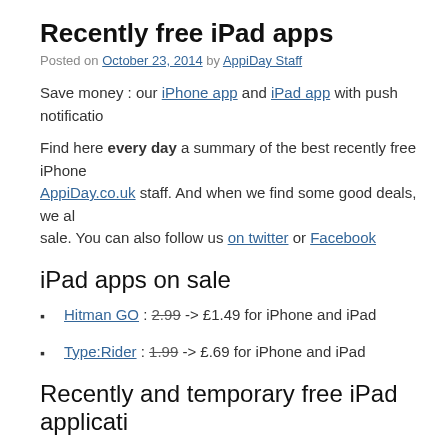Recently free iPad apps
Posted on October 23, 2014 by AppiDay Staff
Save money : our iPhone app and iPad app with push notificatio
Find here every day a summary of the best recently free iPhone AppiDay.co.uk staff. And when we find some good deals, we al sale. You can also follow us on twitter or Facebook
iPad apps on sale
Hitman GO : 2.99 -> £1.49 for iPhone and iPad
Type:Rider : 1.99 -> £.69 for iPhone and iPad
Recently and temporary free iPad applicati
Important note : please, be carefull, all the apps mentionned be